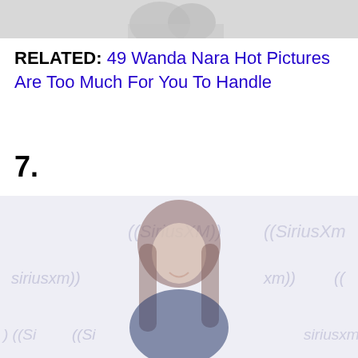[Figure (photo): Partial top image, cropped, showing a person, faded/greyed out]
RELATED: 49 Wanda Nara Hot Pictures Are Too Much For You To Handle
7.
[Figure (photo): Woman with long dark hair smiling, photographed at SiriusXM event with SiriusXM logos visible in the background, image has a faded/washed-out appearance]